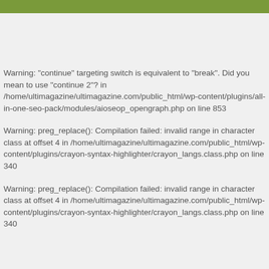Warning: "continue" targeting switch is equivalent to "break". Did you mean to use "continue 2"? in /home/ultimagazine/ultimagazine.com/public_html/wp-content/plugins/all-in-one-seo-pack/modules/aioseop_opengraph.php on line 853
Warning: preg_replace(): Compilation failed: invalid range in character class at offset 4 in /home/ultimagazine/ultimagazine.com/public_html/wp-content/plugins/crayon-syntax-highlighter/crayon_langs.class.php on line 340
Warning: preg_replace(): Compilation failed: invalid range in character class at offset 4 in /home/ultimagazine/ultimagazine.com/public_html/wp-content/plugins/crayon-syntax-highlighter/crayon_langs.class.php on line 340